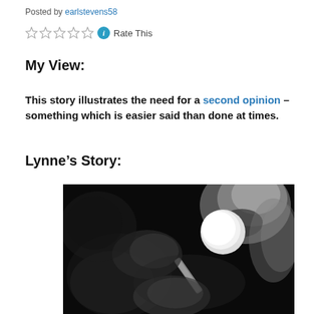Posted by earlstevens58
Rate This
My View:
This story illustrates the need for a second opinion – something which is easier said than done at times.
Lynne’s Story:
[Figure (photo): X-ray image of a hip joint with a prosthetic implant (hip replacement), showing the femoral head prosthesis and stem in black and white radiograph.]